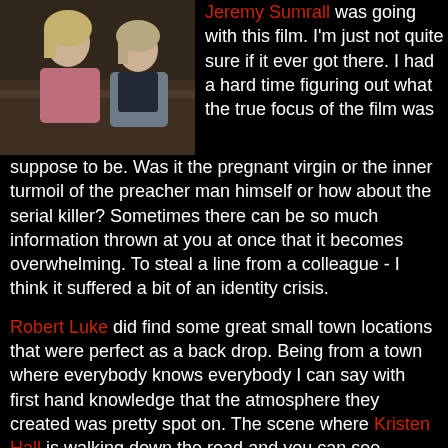[Figure (photo): Two women sitting together, one with blonde hair wearing a pink top, the other with lighter hair wearing a gray cardigan, in what appears to be a church or indoor setting.]
Jeremy Sumrall was going with this film. I'm just not quite sure if it ever got there. I had a hard time figuring out what the true focus of the film was suppose to be. Was it the pregnant virgin or the inner turmoil of the preacher man himself or how about the serial killer? Sometimes there can be so much information thrown at you at once that it becomes overwhelming. To steal a line from a colleague - I think it suffered a bit of an identity crisis.
Robert Luke did find some great small town locations that were perfect as a back drop. Being from a town where everybody knows everybody I can say with first hand knowledge that the atmosphere they created was pretty spot on. The scene where Kristen Hall is walking down the road and you can see nothing but empty fields was one of the best shots in the entire film.
One thing I just didn't get...